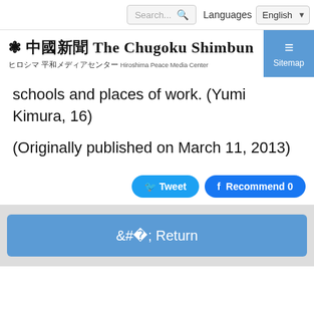Search... | Languages | English
[Figure (logo): The Chugoku Shimbun / Hiroshima Peace Media Center logo with Japanese text]
schools and places of work. (Yumi Kimura, 16)
(Originally published on March 11, 2013)
Tweet | Recommend 0
< Return